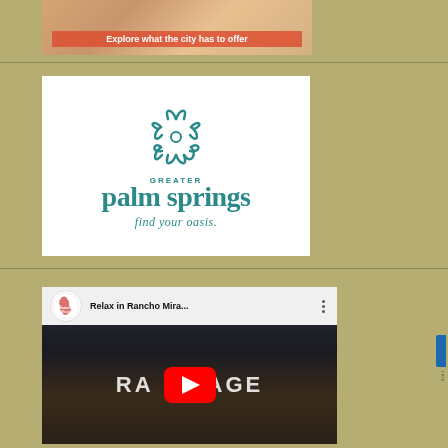[Figure (photo): Food banner image showing dishes with text overlay 'Explore what the city has to offer']
[Figure (logo): Greater Palm Springs logo with teal snowflake design and text 'GREATER palm springs find your oasis.' on white background]
[Figure (screenshot): YouTube video thumbnail for 'Relax in Rancho Mira...' with Rancho Mirage channel icon, play button overlay, and dark background with text 'RAMAGE' visible]